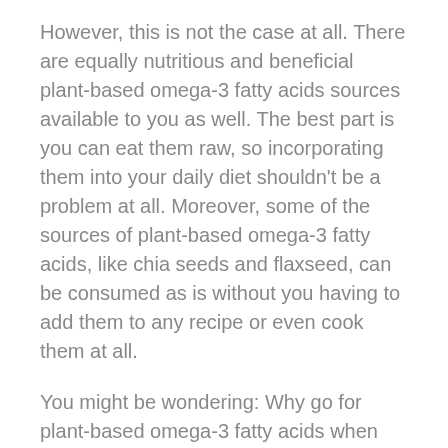However, this is not the case at all. There are equally nutritious and beneficial plant-based omega-3 fatty acids sources available to you as well. The best part is you can eat them raw, so incorporating them into your daily diet shouldn't be a problem at all. Moreover, some of the sources of plant-based omega-3 fatty acids, like chia seeds and flaxseed, can be consumed as is without you having to add them to any recipe or even cook them at all.
You might be wondering: Why go for plant-based omega-3 fatty acids when you can easily consume them through marine sources? Well, there are several benefits of doing so:
First and foremost, your risk of developing